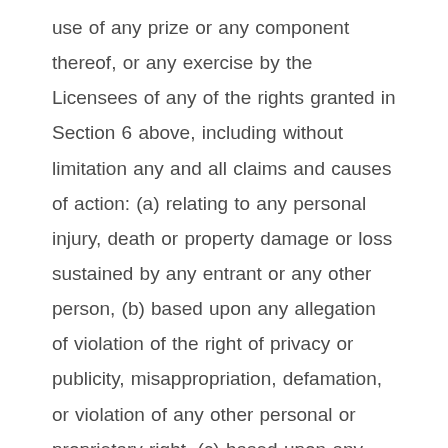use of any prize or any component thereof, or any exercise by the Licensees of any of the rights granted in Section 6 above, including without limitation any and all claims and causes of action: (a) relating to any personal injury, death or property damage or loss sustained by any entrant or any other person, (b) based upon any allegation of violation of the right of privacy or publicity, misappropriation, defamation, or violation of any other personal or proprietary right, (c) based upon any allegation of infringement of copyright, trademark, trade dress, patent, trade secrets, moral rights or any intellectual property right, or (d) or based upon any allegation of a